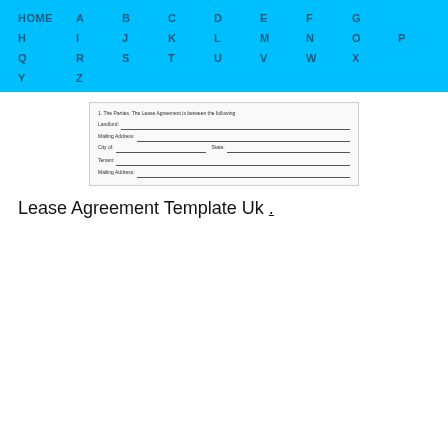HOME A B C D E F G H I J K L M N O P Q R S T U V W X Y Z
[Figure (screenshot): Thumbnail preview of a lease agreement form showing fields for Landlord, Mailing Address, City of, State, Tenant, Mailing Address]
Lease Agreement Template Uk .